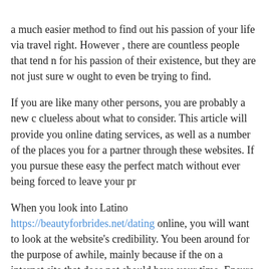a much easier method to find out his passion of your life via travel right. However , there are countless people that tend n for his passion of their existence, but they are not just sure w ought to even be trying to find.
If you are like many other persons, you are probably a new c clueless about what to consider. This article will provide you online dating services, as well as a number of the places you for a partner through these websites. If you pursue these easy the perfect match without ever being forced to leave your pr
When you look into Latino https://beautyforbrides.net/dating online, you will want to look at the website's credibility. You been around for the purpose of awhile, mainly because if the on a internet site that does not should have your time. Ensure what type of marriage you want. For instance, if you wish to them, you will want to look for a web page that offers this sc to a relationship, you should look for a site that all...